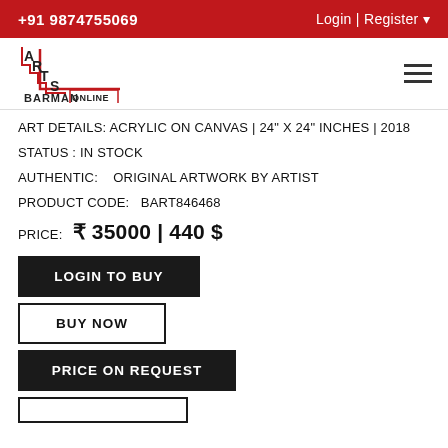+91 9874755069   Login | Register
[Figure (logo): Arts Barman Online logo with staircase design in red and black]
ART DETAILS: ACRYLIC ON CANVAS | 24" X 24" INCHES | 2018
STATUS : IN STOCK
AUTHENTIC:    ORIGINAL ARTWORK BY ARTIST
PRODUCT CODE:    BART846468
PRICE:   ₹ 35000 | 440 $
LOGIN TO BUY
BUY NOW
PRICE ON REQUEST